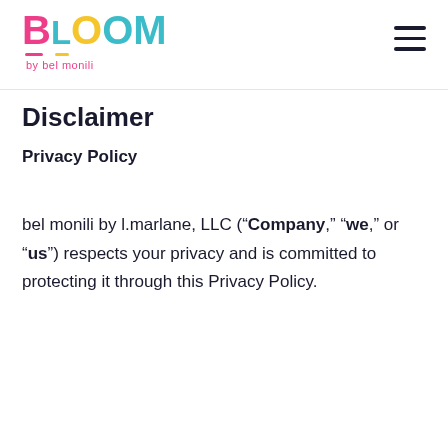BLOOM by bel monili
Disclaimer
Privacy Policy
bel monili by l.marlane, LLC (“Company,” “we,” or “us”) respects your privacy and is committed to protecting it through this Privacy Policy.